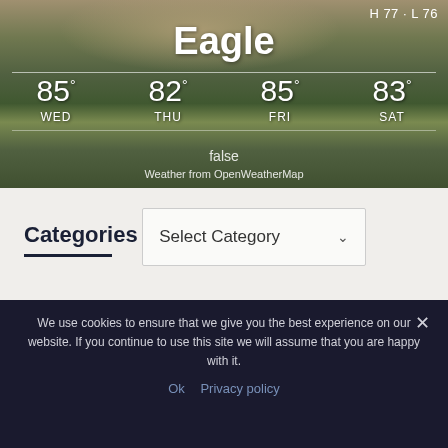[Figure (photo): Weather widget screenshot showing the town of Eagle with a landscape photo background. Displays city name 'Eagle', H 77 · L 76, and a 4-day forecast: WED 85°, THU 82°, FRI 85°, SAT 83°. Shows 'false' text and 'Weather from OpenWeatherMap' attribution.]
Categories
Select Category
We use cookies to ensure that we give you the best experience on our website. If you continue to use this site we will assume that you are happy with it.
Ok  Privacy policy